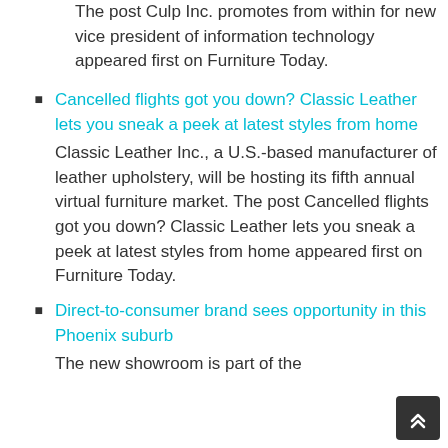The post Culp Inc. promotes from within for new vice president of information technology appeared first on Furniture Today.
Cancelled flights got you down? Classic Leather lets you sneak a peek at latest styles from home
Classic Leather Inc., a U.S.-based manufacturer of leather upholstery, will be hosting its fifth annual virtual furniture market. The post Cancelled flights got you down? Classic Leather lets you sneak a peek at latest styles from home appeared first on Furniture Today.
Direct-to-consumer brand sees opportunity in this Phoenix suburb
The new showroom is part of the